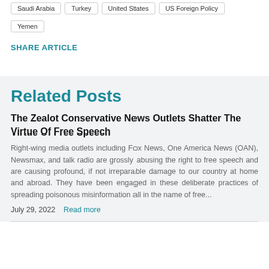Saudi Arabia
Turkey
United States
US Foreign Policy
Yemen
SHARE ARTICLE
Related Posts
The Zealot Conservative News Outlets Shatter The Virtue Of Free Speech
Right-wing media outlets including Fox News, One America News (OAN), Newsmax, and talk radio are grossly abusing the right to free speech and are causing profound, if not irreparable damage to our country at home and abroad. They have been engaged in these deliberate practices of spreading poisonous misinformation all in the name of free...
July 29, 2022   Read more